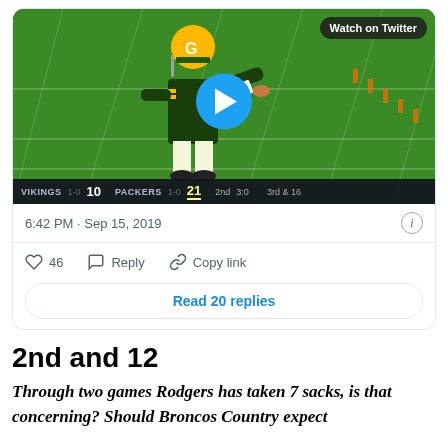[Figure (screenshot): Twitter/X embedded video thumbnail showing a Green Bay Packers player (quarterback in yellow/green uniform and gold helmet) on a football field. Score bug shows VIKINGS 10, PACKERS 21, 2nd quarter, 3:0, 3rd & 16. A blue play button circle is overlaid in the center. 'Watch on Twitter' badge in upper right.]
6:42 PM · Sep 15, 2019
46  Reply  Copy link
Read 20 replies
2nd and 12
Through two games Rodgers has taken 7 sacks, is that concerning? Should Broncos Country expect